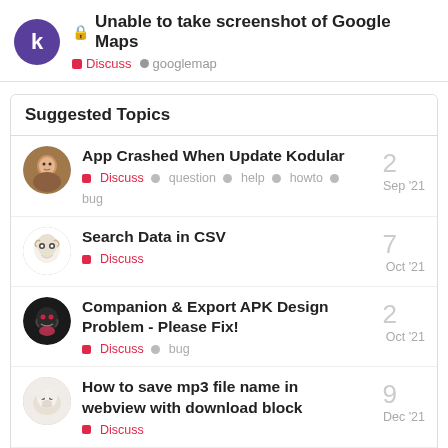Unable to take screenshot of Google Maps — Discuss • googlemap
Suggested Topics
App Crashed When Update Kodular
Discuss • question • help • howto • bug  2  Sep '21
Search Data in CSV
Discuss  7  Oct '21
Companion & Export APK Design Problem - Please Fix!
Discuss • bug  2  Oct '21
How to save mp3 file name in webview with download block
Discuss  9  Dec '21
In-app purchase
1